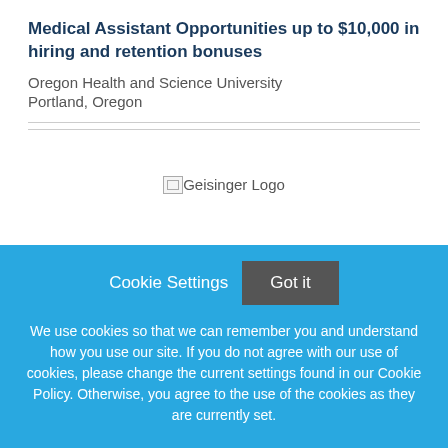Medical Assistant Opportunities up to $10,000 in hiring and retention bonuses
Oregon Health and Science University
Portland, Oregon
[Figure (logo): Geisinger Logo (broken image placeholder)]
Certified Registered Nurse Anesthetist
Cookie Settings  Got it

We use cookies so that we can remember you and understand how you use our site. If you do not agree with our use of cookies, please change the current settings found in our Cookie Policy. Otherwise, you agree to the use of the cookies as they are currently set.